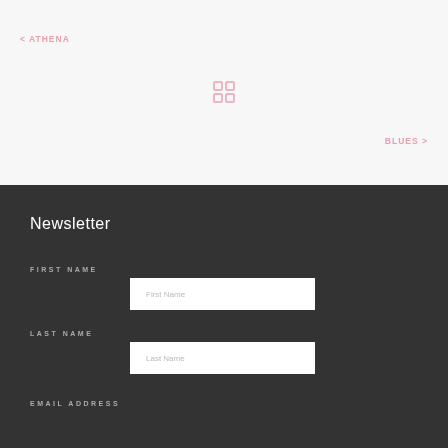< ATHENA
[Figure (other): Grid icon with four squares in pink/rose color]
BLUES >
Newsletter
First Name
First Name (input field placeholder)
Last Name
Last Name (input field placeholder)
Email Address